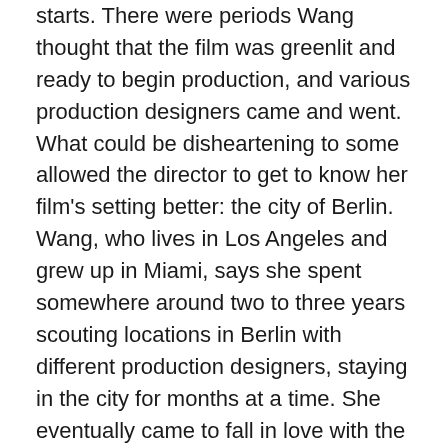starts. There were periods Wang thought that the film was greenlit and ready to begin production, and various production designers came and went. What could be disheartening to some allowed the director to get to know her film's setting better: the city of Berlin. Wang, who lives in Los Angeles and grew up in Miami, says she spent somewhere around two to three years scouting locations in Berlin with different production designers, staying in the city for months at a time. She eventually came to fall in love with the city. The film features a bright color palette, reflecting the lightness of the film's drama and humor. When asked about the film's high-contrast, brilliant quality, she says, “Berlin really helps with that … Usually they shoot World War II movies in Berlin. We didn’t feel like there were that many movies in the mainstream that have really captured the artistic nature of Berlin.”